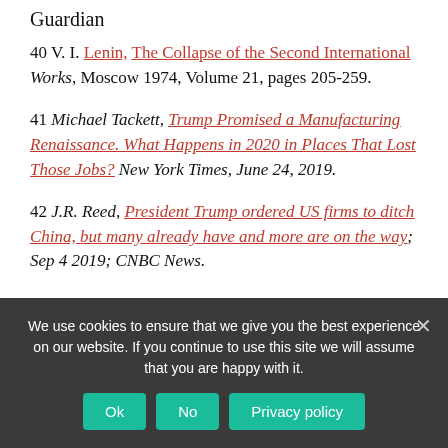Guardian
40 V. I. Lenin, The Collapse of the Second International Works, Moscow 1974, Volume 21, pages 205-259.
41 Michael Tackett, Trump Promised a Manufacturing Renaissance. What Happens in 2020 in Places That Lost Those Jobs? New York Times, June 24, 2019.
42 J.R. Reed, President Trump ordered US firms to ditch China, but many already have and more are on the way; Sep 4 2019; CNBC News.
We use cookies to ensure that we give you the best experience on our website. If you continue to use this site we will assume that you are happy with it.